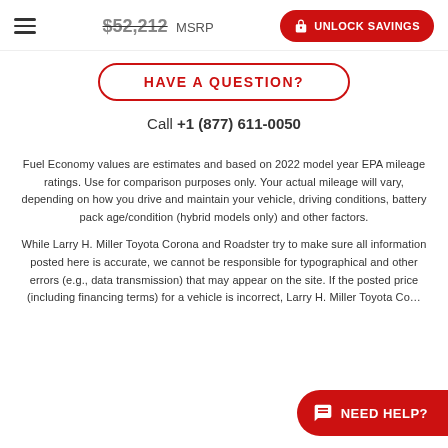$52,212 MSRP — UNLOCK SAVINGS
HAVE A QUESTION?
Call +1 (877) 611-0050
Fuel Economy values are estimates and based on 2022 model year EPA mileage ratings. Use for comparison purposes only. Your actual mileage will vary, depending on how you drive and maintain your vehicle, driving conditions, battery pack age/condition (hybrid models only) and other factors.
While Larry H. Miller Toyota Corona and Roadster try to make sure all information posted here is accurate, we cannot be responsible for typographical and other errors (e.g., data transmission) that may appear on the site. If the posted price (including financing terms) for a vehicle is incorrect, Larry H. Miller Toyota Co...